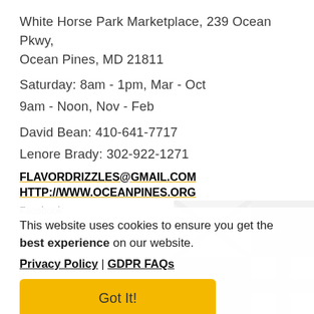White Horse Park Marketplace, 239 Ocean Pkwy, Ocean Pines, MD 21811
Saturday: 8am - 1pm, Mar - Oct
9am - Noon, Nov - Feb
David Bean: 410-641-7717
Lenore Brady: 302-922-1271
FLAVORDRIZZLES@GMAIL.COM
HTTP://WWW.OCEANPINES.ORG
This website uses cookies to ensure you get the best experience on our website.
Privacy Policy | GDPR FAQs
Got It!